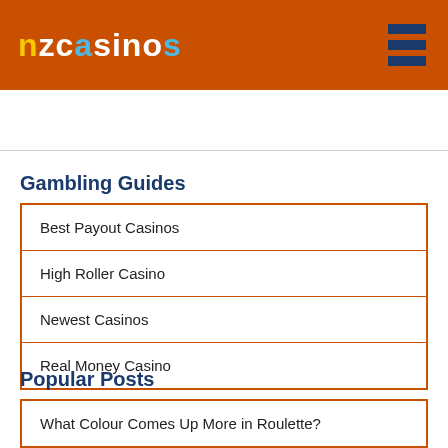nzcasinos
Gambling Guides
Best Payout Casinos
High Roller Casino
Newest Casinos
Real Money Casino
Popular Posts
What Colour Comes Up More in Roulette?